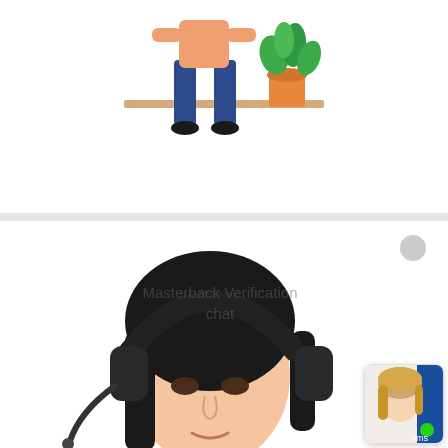[Figure (illustration): Partial illustration of a person sitting at a desk with a plant, shown from waist down (legs and orange pot plant visible), white background]
[Figure (other): Green rounded rectangle button with white bold text reading LEARN MORE]
[Figure (photo): Close-up photo of a woman with dark hair wearing large headphones/headset with microphone, looking slightly upward, white background, customer service representative]
Masterback Verification chat
[Figure (photo): Small thumbnail photo of a blonde woman in bottom right corner, with green dot and partial blue shape]